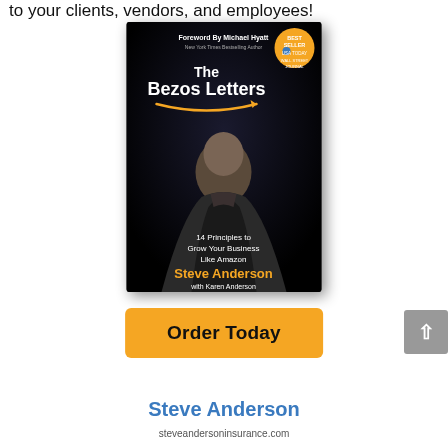to your clients, vendors, and employees!
[Figure (photo): Book cover of 'The Bezos Letters: 14 Principles to Grow Your Business Like Amazon' by Steve Anderson with Karen Anderson. Foreword by Michael Hyatt. Black cover with image of bald man from behind wearing a suit. USA Today Best Seller badge. Orange Amazon-style arrow under the title. Author name in orange text.]
Order Today
Steve Anderson
steveandersoninsurance.com